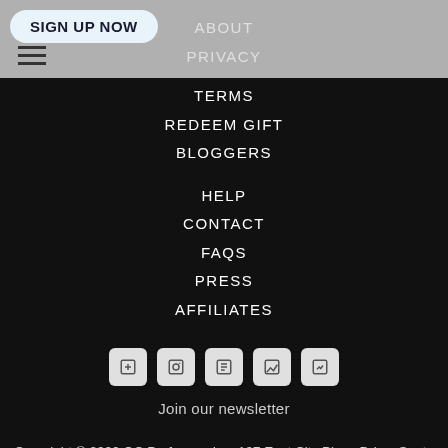SIGN UP NOW
ABOUT
PRIVACY
TERMS
REDEEM GIFT
BLOGGERS
HELP
CONTACT
FAQS
PRESS
AFFILIATES
[Figure (other): Five social media icon buttons in rounded square style, light gray background]
Join our newsletter
Copyright © 2020 OC Perfumes, Inc. 127 East City Place Drive, Santa Ana, CA 92705